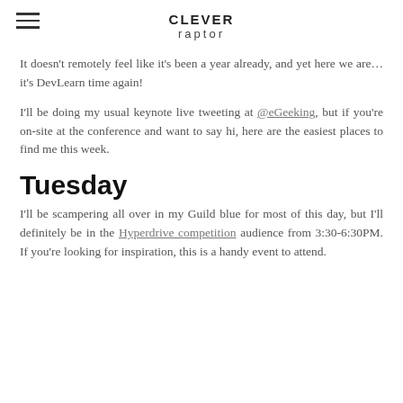CLEVER raptor
It doesn't remotely feel like it's been a year already, and yet here we are… it's DevLearn time again!
I'll be doing my usual keynote live tweeting at @eGeeking, but if you're on-site at the conference and want to say hi, here are the easiest places to find me this week.
Tuesday
I'll be scampering all over in my Guild blue for most of this day, but I'll definitely be in the Hyperdrive competition audience from 3:30-6:30PM. If you're looking for inspiration, this is a handy event to attend.